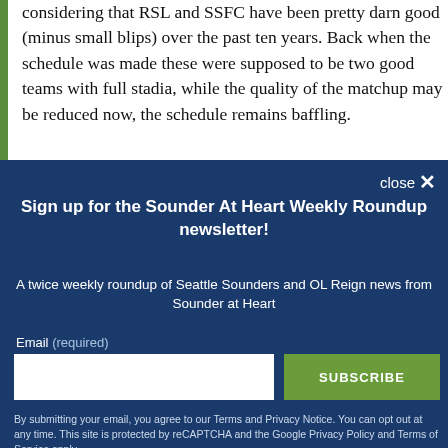trying to avoid this matchup. That's kind of odd, considering that RSL and SSFC have been pretty darn good (minus small blips) over the past ten years. Back when the schedule was made these were supposed to be two good teams with full stadia, while the quality of the matchup may be reduced now, the schedule remains baffling.
close ✕
Sign up for the Sounder At Heart Weekly Roundup newsletter!
A twice weekly roundup of Seattle Sounders and OL Reign news from Sounder at Heart
Email (required)
SUBSCRIBE
By submitting your email, you agree to our Terms and Privacy Notice. You can opt out at any time. This site is protected by reCAPTCHA and the Google Privacy Policy and Terms of Service apply.